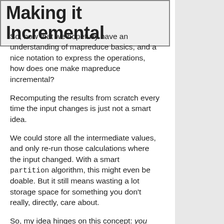Making it Incremental
So, now that we hopefully have an understanding of mapreduce basics, and a nice notation to express the operations, how does one make mapreduce incremental?
Recomputing the results from scratch every time the input changes is just not a smart idea.
We could store all the intermediate values, and only re-run those calculations where the input changed. With a smart partition algorithm, this might even be doable. But it still means wasting a lot storage space for something you don't really, directly, care about.
So, my idea hinges on this concept: you can only do incremental mapreduce when you know how to "undo" earlier results. If your problem space does not have that property, you're pretty much going to just have to store the intermediate values, and to recompute.